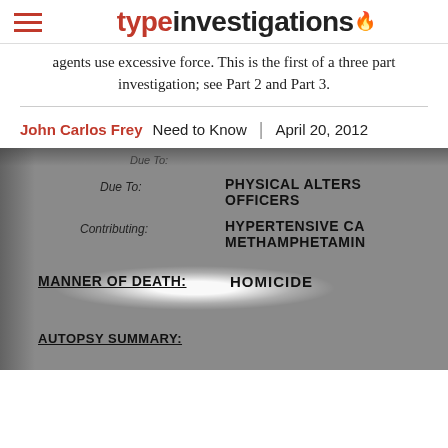typeinvestigations
agents use excessive force. This is the first of a three part investigation; see Part 2 and Part 3.
John Carlos Frey  Need to Know  |  April 20, 2012
[Figure (photo): Scanned document excerpt showing fields: Due To: PHYSICAL ALTERC OFFICERS, Contributing: HYPERTENSIVE CA METHAMPHETAMINE, MANNER OF DEATH: HOMICIDE (highlighted with spotlight effect), AUTOPSY SUMMARY:]